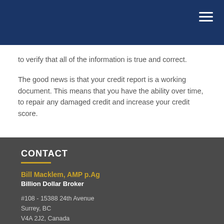navigation bar with hamburger menu
to verify that all of the information is true and correct.
The good news is that your credit report is a working document. This means that you have the ability over time, to repair any damaged credit and increase your credit score.
CONTACT
Bill Macklem, AMP p.Ag
Billion Dollar Broker
#108 - 15388 24th Avenue
Surrey, BC
V4A 2J2, Canada
Email: billm@macklemmortgages.com
Tel: 604-684-4663 (HOME)
Cell: 778-899-6884